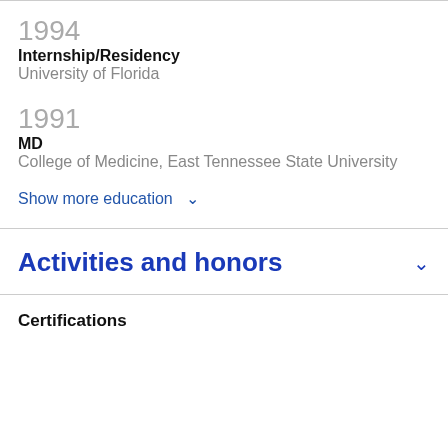1994
Internship/Residency
University of Florida
1991
MD
College of Medicine, East Tennessee State University
Show more education ˅
Activities and honors
Certifications